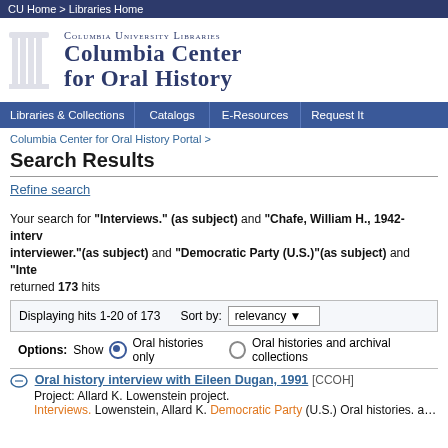CU Home > Libraries Home
[Figure (logo): Columbia University Libraries - Columbia Center for Oral History header logo with column graphic]
Libraries & Collections | Catalogs | E-Resources | Request It
Columbia Center for Oral History Portal >
Search Results
Refine search
Your search for "Interviews." (as subject) and "Chafe, William H., 1942- interv interviewer."(as subject) and "Democratic Party (U.S.)"(as subject) and "Inte returned 173 hits
Displaying hits 1-20 of 173   Sort by: relevancy
Options: Show  Oral histories only   Oral histories and archival collections
Oral history interview with Eileen Dugan, 1991 [CCOH]
Project: Allard K. Lowenstein project.
Interviews. Lowenstein, Allard K. Democratic Party (U.S.) Oral histories. aat Interv